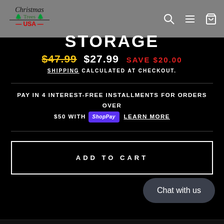[Figure (logo): Christmas Trees USA logo on gray header background]
STORAGE
$47.99 $27.99 SAVE $20.00
Shipping calculated at checkout.
Pay in 4 interest-free installments for orders over $50 with Shop Pay Learn more
ADD TO CART
Chat with us